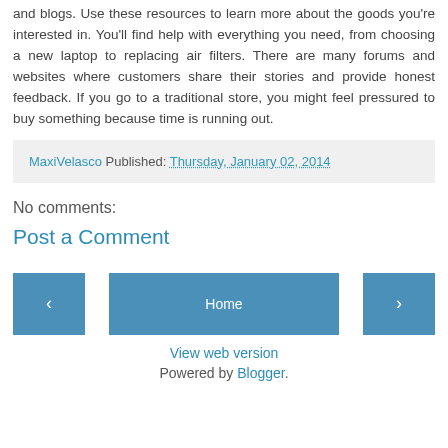and blogs. Use these resources to learn more about the goods you're interested in. You'll find help with everything you need, from choosing a new laptop to replacing air filters. There are many forums and websites where customers share their stories and provide honest feedback. If you go to a traditional store, you might feel pressured to buy something because time is running out.
MaxiVelasco Published: Thursday, January 02, 2014
No comments:
Post a Comment
< Home >
View web version
Powered by Blogger.